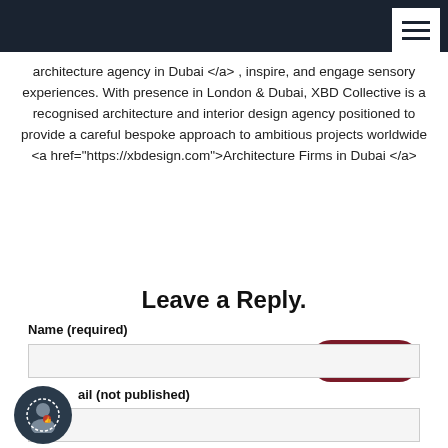architecture agency in Dubai </a> , inspire, and engage sensory experiences. With presence in London & Dubai, XBD Collective is a recognised architecture and interior design agency positioned to provide a careful bespoke approach to ambitious projects worldwide <a href="https://xbdesign.com">Architecture Firms in Dubai </a>
REPLY
Leave a Reply.
Name (required)
ail (not published)